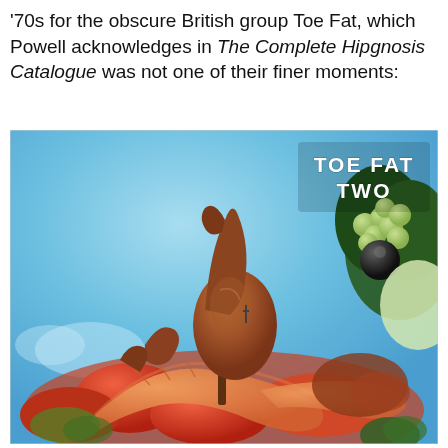'70s for the obscure British group Toe Fat, which Powell acknowledges in The Complete Hipgnosis Catalogue was not one of their finer moments:
[Figure (photo): Album cover for 'Toe Fat Two' by the British rock group Toe Fat. The cover shows a surreal food sculpture scene with roasted meat pieces, large prawns/shrimp, tomatoes, and assorted foods arranged in a pile against a blue sky background. Grapes and dark berries are visible in the upper right. The band name 'TOE FAT TWO' appears in white bubble-style lettering in the upper right corner.]